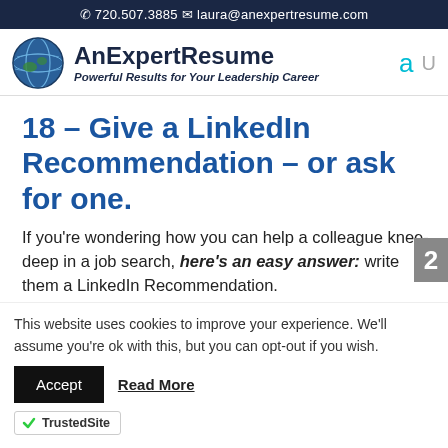📞 720.507.3885   ✉ laura@anexpertresume.com
[Figure (logo): AnExpertResume logo with globe icon, tagline: Powerful Results for Your Leadership Career]
18 – Give a LinkedIn Recommendation – or ask for one.
If you're wondering how you can help a colleague knee-deep in a job search, here's an easy answer: write them a LinkedIn Recommendation.
This website uses cookies to improve your experience. We'll assume you're ok with this, but you can opt-out if you wish.
Accept   Read More
[Figure (logo): TrustedSite badge with checkmark]